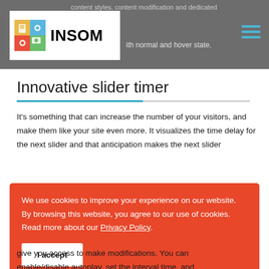content styles, content modification and dedicated ... with normal and hover state.
[Figure (logo): INSOM logo with colorful book/gear icon on white background inside grey header bar]
Innovative slider timer
It’s something that can increase the number of your visitors, and make them like your site even more. It visualizes the time delay for the next slider and that anticipation makes the next slider
We use cookies to improve your experience on our website. By browsing this website, you agree to our use of cookies. Read more about our Privacy Policy.
I accept
give you access to make modifications. You can enable/disable autoplay, set the interval time, and